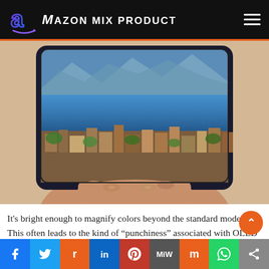Amazon Mix Product
[Figure (photo): A hand holding a smartphone displaying an aerial photograph of a lakeside European city with colorful rooftops, mountains in the background, and blue water.]
It's bright enough to magnify colors beyond the standard model. This often leads to the kind of “punchiness” associated with OLED panels. In the process, we tested to see if the display was really bright, but it wasn't.
Social share bar: Facebook, Twitter, Reddit, LinkedIn, Pinterest, MiW, Mix, WhatsApp, Share